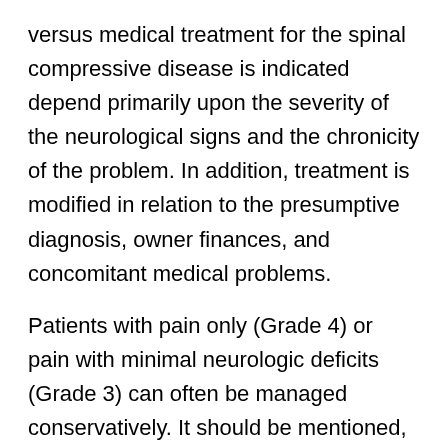versus medical treatment for the spinal compressive disease is indicated depend primarily upon the severity of the neurological signs and the chronicity of the problem. In addition, treatment is modified in relation to the presumptive diagnosis, owner finances, and concomitant medical problems.
Patients with pain only (Grade 4) or pain with minimal neurologic deficits (Grade 3) can often be managed conservatively. It should be mentioned, however, that improper management of the dog with spinal pain with or without minimal neurologic deficits may result in the progression of clinical signs and a worse overall prognosis.
Accessibility [button] nt spinal cord compression (Grade 2-0) should be relieved surgically. While medications and time may improve the animal's comfort and neurological